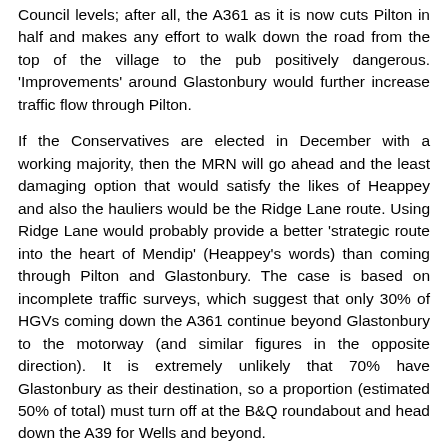Council levels; after all, the A361 as it is now cuts Pilton in half and makes any effort to walk down the road from the top of the village to the pub positively dangerous. 'Improvements' around Glastonbury would further increase traffic flow through Pilton.
If the Conservatives are elected in December with a working majority, then the MRN will go ahead and the least damaging option that would satisfy the likes of Heappey and also the hauliers would be the Ridge Lane route. Using Ridge Lane would probably provide a better 'strategic route into the heart of Mendip' (Heappey's words) than coming through Pilton and Glastonbury. The case is based on incomplete traffic surveys, which suggest that only 30% of HGVs coming down the A361 continue beyond Glastonbury to the motorway (and similar figures in the opposite direction). It is extremely unlikely that 70% have Glastonbury as their destination, so a proportion (estimated 50% of total) must turn off at the B&Q roundabout and head down the A39 for Wells and beyond.
If this can be proven – which would require a 3-way Origin & Destination survey – the implication is that the Ridge Lane route would provide this proportion of HGVs with a shorter journey-time than via